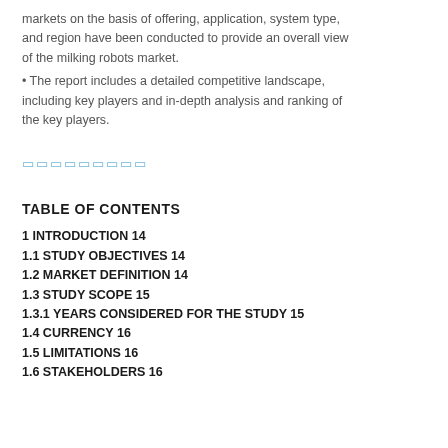markets on the basis of offering, application, system type, and region have been conducted to provide an overall view of the milking robots market.
• The report includes a detailed competitive landscape, including key players and in-depth analysis and ranking of the key players.
🔲🔲🔲🔲🔲🔲🔲🔲🔲
TABLE OF CONTENTS
1 INTRODUCTION 14
1.1 STUDY OBJECTIVES 14
1.2 MARKET DEFINITION 14
1.3 STUDY SCOPE 15
1.3.1 YEARS CONSIDERED FOR THE STUDY 15
1.4 CURRENCY 16
1.5 LIMITATIONS 16
1.6 STAKEHOLDERS 16